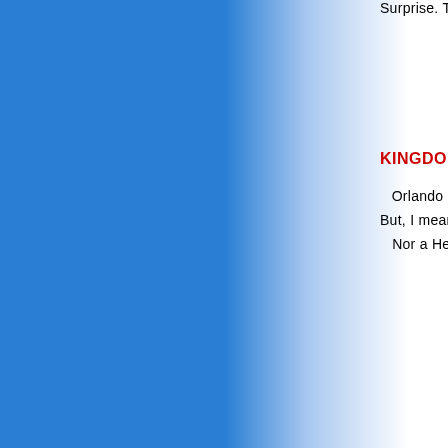Surprise. This scene
KINGDOM OF HEAV
Orlando Bloom tries
But, I mean, he's no Cu
Nor a Heath Ledger
STAR WARS EPISODE III: REVENG
Action figures? Check
Lunch boxes? Check! Posters
Wait! Shit! There's no s
INDIANA JONES 4
One man can search ye
He can ride horses, crack
He's still Han Solo.